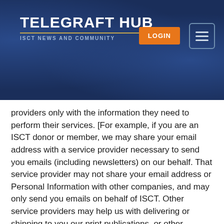TELEGRAFT HUB
ISCT NEWS AND COMMUNITY
providers only with the information they need to perform their services. [For example, if you are an ISCT donor or member, we may share your email address with a service provider necessary to send you emails (including newsletters) on our behalf. That service provider may not share your email address or Personal Information with other companies, and may only send you emails on behalf of ISCT. Other service providers may help us with delivering or shipping to you our print publications, or other products you may order, and to ensure fulfillment of your orders, purchases, and registrations. Another we may share, or facilitate the sharing of, your Personal Information is with third party retail or payment processing platforms or vendors in order to process and confirm payment. Or, we may share your Personal Information with third party customer service providers and vendors that allow us to